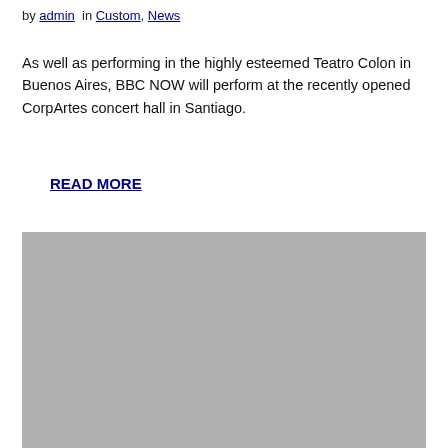by admin in Custom, News
As well as performing in the highly esteemed Teatro Colon in Buenos Aires, BBC NOW will perform at the recently opened CorpArtes concert hall in Santiago.
READ MORE
[Figure (photo): A grey/silver placeholder image occupying the lower half of the page]